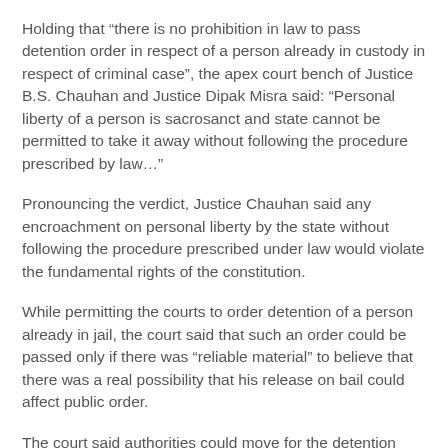Holding that “there is no prohibition in law to pass detention order in respect of a person already in custody in respect of criminal case”, the apex court bench of Justice B.S. Chauhan and Justice Dipak Misra said: “Personal liberty of a person is sacrosanct and state cannot be permitted to take it away without following the procedure prescribed by law…”
Pronouncing the verdict, Justice Chauhan said any encroachment on personal liberty by the state without following the procedure prescribed under law would violate the fundamental rights of the constitution.
While permitting the courts to order detention of a person already in jail, the court said that such an order could be passed only if there was “reliable material” to believe that there was a real possibility that his release on bail could affect public order.
The court said authorities could move for the detention order if it was felt that it was necessary to prevent him from indulging in activities prejudicial to public order.